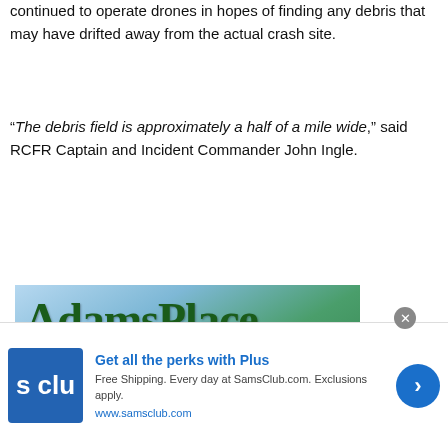continued to operate drones in hopes of finding any debris that may have drifted away from the actual crash site.
“The debris field is approximately a half of a mile wide,” said RCFR Captain and Incident Commander John Ingle.
[Figure (photo): Adams Place advertisement showing green trees and building with text: ADAMSPLACE, FRIDAY, SEPT. 16, 2022, FREE Family Fair - Food Trucks - Games - Music, 25th anniversary]
[Figure (infographic): Sam's Club advertisement: Get all the perks with Plus. Free Shipping. Every day at SamsClub.com. Exclusions apply. www.samsclub.com]